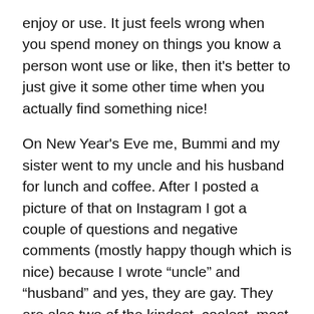enjoy or use. It just feels wrong when you spend money on things you know a person wont use or like, then it's better to just give it some other time when you actually find something nice!
On New Year's Eve me, Bummi and my sister went to my uncle and his husband for lunch and coffee. After I posted a picture of that on Instagram I got a couple of questions and negative comments (mostly happy though which is nice) because I wrote “uncle” and “husband” and yes, they are gay. They are also two of the kindest, coolest, most inspirational and generally awesome people I know and I’m so happy to have them both in my life. They’ve been together for more than 50 years but are still as caring and loving towards each other as they’ve always been, just as (in my opinion) a relationship should be.
We’re going to China on Sunday for WESG – going to be